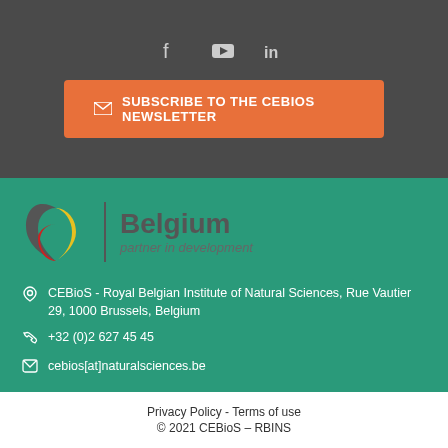[Figure (other): Social media icons: Facebook, YouTube, LinkedIn on dark gray background]
SUBSCRIBE TO THE CEBIOS NEWSLETTER
[Figure (logo): Belgium - partner in development logo with stylized B in black, yellow, red colors]
CEBioS - Royal Belgian Institute of Natural Sciences, Rue Vautier 29, 1000 Brussels, Belgium
+32 (0)2 627 45 45
cebios[at]naturalsciences.be
Privacy Policy - Terms of use
© 2021 CEBioS – RBINS